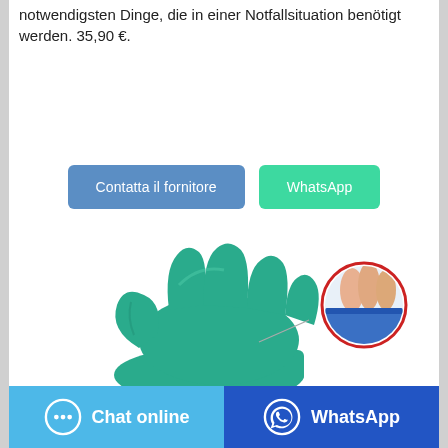notwendigsten Dinge, die in einer Notfallsituation benötigt werden. 35,90 €.
[Figure (other): Two buttons: 'Contatta il fornitore' (blue) and 'WhatsApp' (green)]
[Figure (photo): A teal/green medical glove with an inset circular close-up showing the glove cuff/wrist area in blue]
[Figure (other): Footer bar with two buttons: 'Chat online' (light blue with chat bubble icon) and 'WhatsApp' (dark blue with WhatsApp icon)]